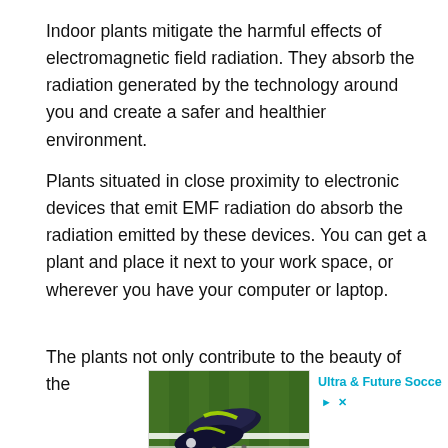Indoor plants mitigate the harmful effects of electromagnetic field radiation. They absorb the radiation generated by the technology around you and create a safer and healthier environment.
Plants situated in close proximity to electronic devices that emit EMF radiation do absorb the radiation emitted by these devices. You can get a plant and place it next to your work space, or wherever you have your computer or laptop.
The plants not only contribute to the beauty of the
[Figure (photo): Advertisement showing soccer cleats (Puma brand) on a grass field with white lines. Caption 'Ultra & Future Socce' in cyan with navigation arrows and close button. Ad label below.]